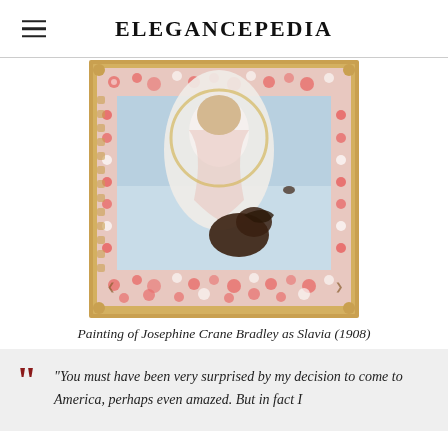ELEGANCEPEDIA
[Figure (illustration): Painting of Josephine Crane Bradley as Slavia (1908) — a decorative Art Nouveau style painting with a female figure draped in white robes within an ornate floral border frame, with a dark creature at the bottom]
Painting of Josephine Crane Bradley as Slavia (1908)
“You must have been very surprised by my decision to come to America, perhaps even amazed. But in fact I